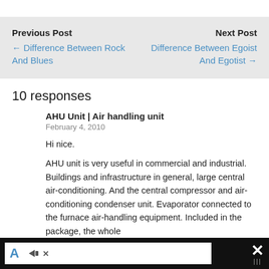Previous Post
← Difference Between Rock And Blues
Next Post
Difference Between Egoist And Egotist →
10 responses
AHU Unit | Air handling unit
February 4, 2010
Hi nice.
AHU unit is very useful in commercial and industrial. Buildings and infrastructure in general, large central air-conditioning. And the central compressor and air-conditioning condenser unit. Evaporator connected to the furnace air-handling equipment. Included in the package, the whole